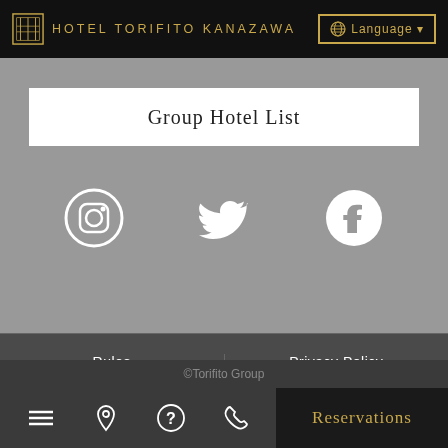HOTEL TORIFITO KANAZAWA — Language
[Figure (other): Group Hotel List white button box on grey background with Instagram, Twitter, and Facebook social media icons below]
Group Hotel List
Rules
Privacy Policy
Download Brochure
©Torifito Group
Reservations